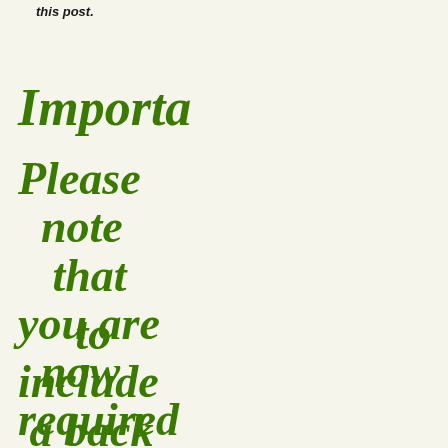this post.
Importa
Please note that you are now required
to include a back link to my blog